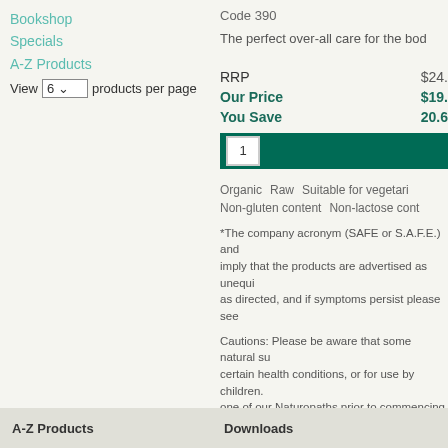Bookshop
Specials
A-Z Products
View 6 products per page
Code 390
The perfect over-all care for the bod
| Label | Value |
| --- | --- |
| RRP | $24. |
| Our Price | $19. |
| You Save | 20.6 |
1
Organic   Raw   Suitable for vegetari
Non-gluten content   Non-lactose cont
*The company acronym (SAFE or S.A.F.E.) and imply that the products are advertised as unequi as directed, and if symptoms persist please see
Cautions: Please be aware that some natural su certain health conditions, or for use by children. one of our Naturopaths prior to commencing any should not be used for diagnosing a health cond
A-Z Products    Downloads